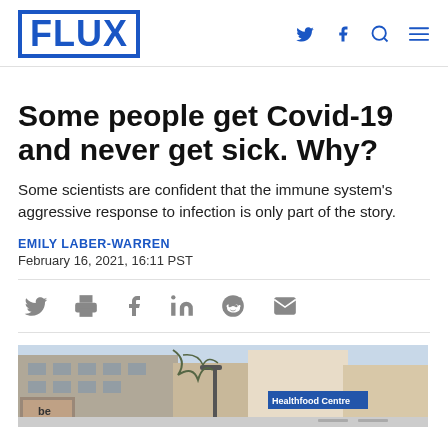FLUX
Some people get Covid-19 and never get sick. Why?
Some scientists are confident that the immune system's aggressive response to infection is only part of the story.
EMILY LABER-WARREN
February 16, 2021, 16:11 PST
[Figure (photo): Street scene showing storefronts, including a sign reading 'Healthfood Centre', with buildings and a street lamp visible.]